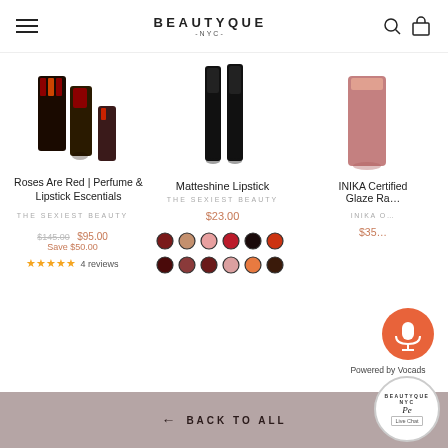BEAUTYQUE NYC
[Figure (screenshot): Product image: Roses Are Red Perfume and Lipstick Escentials cosmetic products]
Roses Are Red | Perfume & Lipstick Escentials
THE SEXIEST BEAUTY
$145.00 $95.00 Save $50.00
★★★★★ 4 reviews
[Figure (screenshot): Product image: Matteshine Lipstick black tube]
Matteshine Lipstick
THE SEXIEST BEAUTY
$23.00
[Figure (screenshot): Color swatches for Matteshine Lipstick: 10 circular color options in reds, pinks, and dark shades]
[Figure (screenshot): Product image: INIKA Certified Glaze Ra (partially visible)]
INIKA Certified Glaze Ra
INIKA O
$35
[Figure (other): Orange circular voice/microphone button]
Powered by Vocads
← BACK TO ALL
[Figure (logo): Beautyque NYC Live Chat badge - circular badge with brand name and Live Chat label]